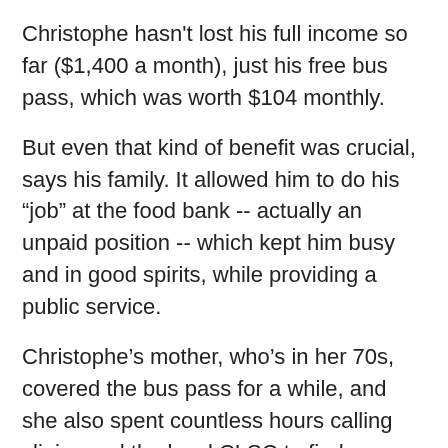Christophe hasn't lost his full income so far ($1,400 a month), just his free bus pass, which was worth $104 monthly.
But even that kind of benefit was crucial, says his family. It allowed him to do his “job” at the food bank -- actually an unpaid position -- which kept him busy and in good spirits, while providing a public service.
Christophe’s mother, who’s in her 70s, covered the bus pass for a while, and she also spent countless hours calling clinics and the local CLSC to find a doctor willing to help.
Ultimately, the CLSC suggested going to a private clinic, she said, which the family believed would charge $300 or $400 just to set